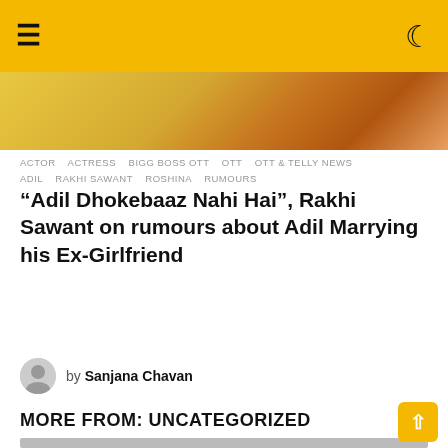≡  ☾
[Figure (photo): Hero image showing colorful clothing — yellow plaid pattern on left, orange/brown tones on right]
ACTOR   ACTRESS   BIGG BOSS OTT   OTT   OTT & TELLY NEWS   ADIL   RAKHI SAWANT   ROSHINA   RUMOURS
“Adil Dhokebaaz Nahi Hai”, Rakhi Sawant on rumours about Adil Marrying his Ex-Girlfriend
₹123.95 ▲
by Sanjana Chavan
MORE FROM: UNCATEGORIZED
[Figure (photo): Two photos side by side: left shows people at what appears to be a National event with Hindi text visible; right shows a group of people in black clothing]